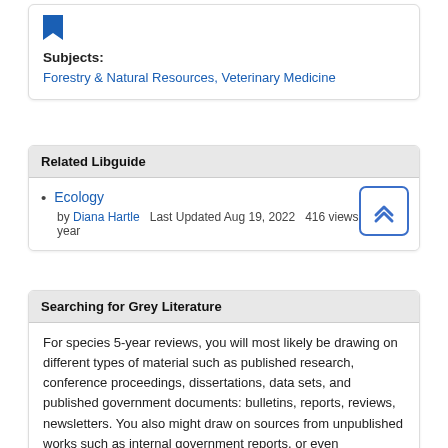[Figure (other): Blue bookmark icon]
Subjects:
Forestry & Natural Resources, Veterinary Medicine
Related Libguide
Ecology
by Diana Hartle   Last Updated Aug 19, 2022   416 views this year
Searching for Grey Literature
For species 5-year reviews, you will most likely be drawing on different types of material such as published research, conference proceedings, dissertations, data sets, and published government documents: bulletins, reports, reviews, newsletters. You also might draw on sources from unpublished works such as internal government reports, or even correspondence. The